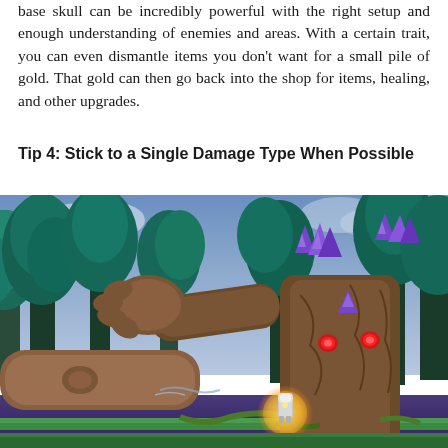base skull can be incredibly powerful with the right setup and enough understanding of enemies and areas. With a certain trait, you can even dismantle items you don't want for a small pile of gold. That gold can then go back into the shop for items, healing, and other upgrades.
Tip 4: Stick to a Single Damage Type When Possible
[Figure (screenshot): Screenshot from a fantasy action video game showing a large tree-monster boss with red glowing eyes and purple crystal gems embedded in it, raising its branch-like arms. A small armored character in a golden glowing circle stands at the bottom center facing the boss. The background shows a dark forest with teal-colored trees and a purple/blue sky.]